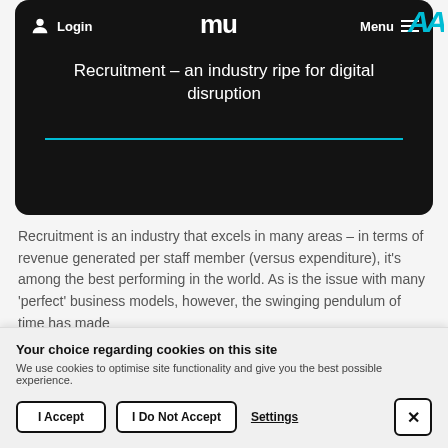[Figure (screenshot): Website screenshot showing a dark hero banner with navigation bar (Login, mu logo, Menu), article title 'Recruitment – an industry ripe for digital disruption' in white text, cyan horizontal rule, over a dark drone image background]
Recruitment – an industry ripe for digital disruption
Recruitment is an industry that excels in many areas – in terms of revenue generated per staff member (versus expenditure), it's among the best performing in the world. As is the issue with many 'perfect' business models, however, the swinging pendulum of time has made
Your choice regarding cookies on this site
We use cookies to optimise site functionality and give you the best possible experience.
I Accept
I Do Not Accept
Settings